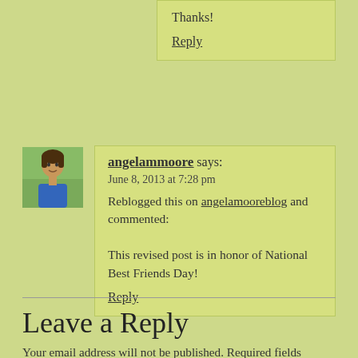Thanks!
Reply
angelammoore says:
June 8, 2013 at 7:28 pm
Reblogged this on angelamooreblog and commented:
This revised post is in honor of National Best Friends Day!
Reply
Leave a Reply
Your email address will not be published. Required fields